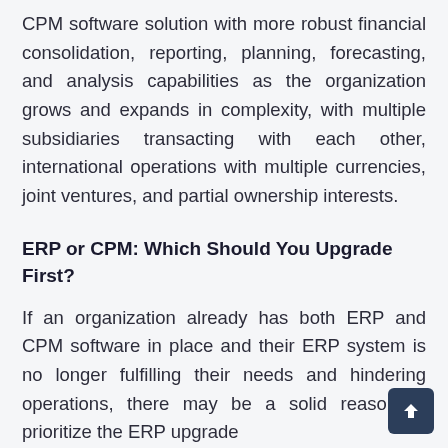CPM software solution with more robust financial consolidation, reporting, planning, forecasting, and analysis capabilities as the organization grows and expands in complexity, with multiple subsidiaries transacting with each other, international operations with multiple currencies, joint ventures, and partial ownership interests.
ERP or CPM: Which Should You Upgrade First?
If an organization already has both ERP and CPM software in place and their ERP system is no longer fulfilling their needs and hindering operations, there may be a solid reason to prioritize the ERP upgrade